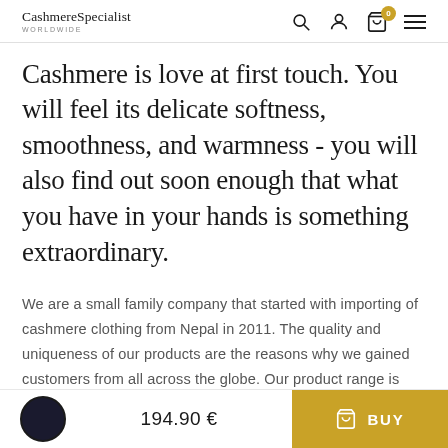CashmereSpecialist WORLDWIDE
Cashmere is love at first touch. You will feel its delicate softness, smoothness, and warmness - you will also find out soon enough that what you have in your hands is something extraordinary.
We are a small family company that started with importing of cashmere clothing from Nepal in 2011. The quality and uniqueness of our products are the reasons why we gained customers from all across the globe. Our product range is
194.90 €
BUY